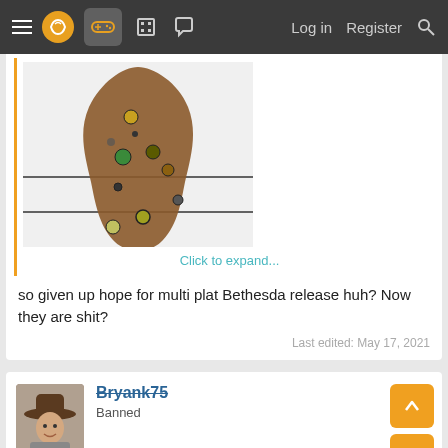Navigation bar with menu, logo, gamepad icon, building icon, chat icon, Log in, Register, Search
[Figure (illustration): A brown blob/stain shape on a white background with a horizontal line, containing colorful circular dots (green, yellow, olive, dark brown)]
Click to expand...
so given up hope for multi plat Bethesda release huh? Now they are shit?
Last edited: May 17, 2021
Bryank75
Banned
May 17, 2021
Warnon said: